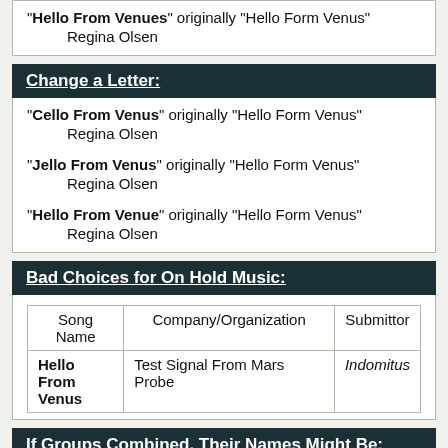"Hello From Venues" originally "Hello Form Venus"
    Regina Olsen
Change a Letter:
"Cello From Venus" originally "Hello Form Venus"
    Regina Olsen
"Jello From Venus" originally "Hello Form Venus"
    Regina Olsen
"Hello From Venue" originally "Hello Form Venus"
    Regina Olsen
Bad Choices for On Hold Music:
| Song Name | Company/Organization | Submittor |
| --- | --- | --- |
| Hello From Venus | Test Signal From Mars Probe | Indomitus |
If Groups Combined, Their Names Might Be: